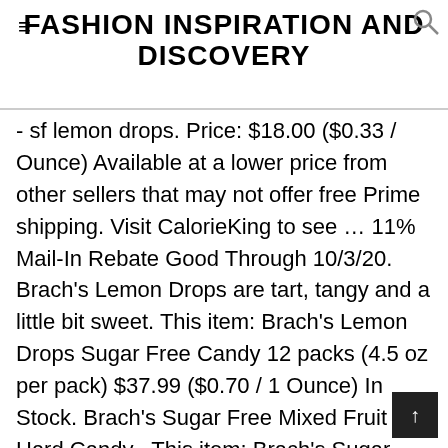FASHION INSPIRATION AND DISCOVERY
- sf lemon drops. Price: $18.00 ($0.33 / Ounce) Available at a lower price from other sellers that may not offer free Prime shipping. Visit CalorieKing to see … 11% Mail-In Rebate Good Through 10/3/20. Brach's Lemon Drops are tart, tangy and a little bit sweet. This item: Brach's Lemon Drops Sugar Free Candy 12 packs (4.5 oz per pack) $37.99 ($0.70 / 1 Ounce) In Stock. Brach's Sugar Free Mixed Fruit Hard Candy . This item: Brach's Sugar Free Lemon Drops Hard Candy, 4.5 Ounce Bag (Pack of 12)